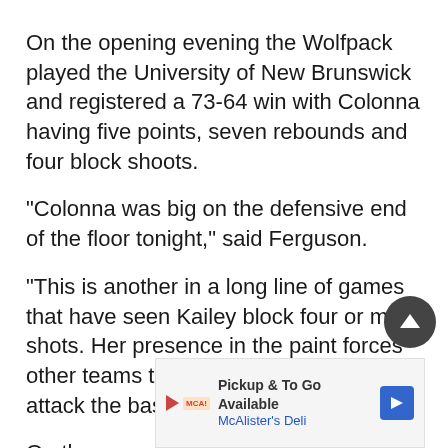On the opening evening the Wolfpack played the University of New Brunswick and registered a 73-64 win with Colonna having five points, seven rebounds and four block shoots.
“Colonna was big on the defensive end of the floor tonight,” said Ferguson.
“This is another in a long line of games that have seen Kailey block four or more shots. Her presence in the paint forces other teams to change the way they attack the basket”.
On the second night the Pack played host to McGill University from Montreal. Kailey had three rebounds an…
[Figure (other): Advertisement banner for McAlister's Deli: 'Pickup & To Go Available' with logo and blue direction arrow icon]